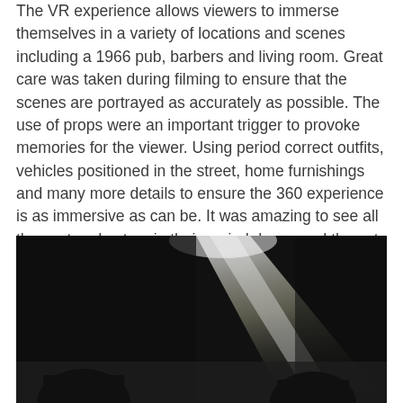The VR experience allows viewers to immerse themselves in a variety of locations and scenes including a 1966 pub, barbers and living room. Great care was taken during filming to ensure that the scenes are portrayed as accurately as possible. The use of props were an important trigger to provoke memories for the viewer. Using period correct outfits, vehicles positioned in the street, home furnishings and many more details to ensure the 360 experience is as immersive as can be. It was amazing to see all the cast and extras in their period dress, and the set was looking fantastic thanks to the talented art department.
[Figure (photo): Black and white dramatic photograph with a bright spotlight beam cutting diagonally across a dark background, with dark silhouetted hands visible at the bottom of the frame.]